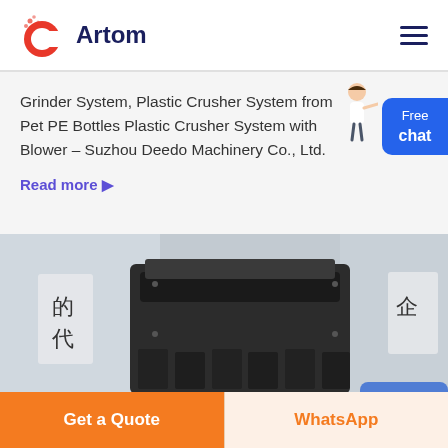Artom
Grinder System, Plastic Crusher System from Pet PE Bottles Plastic Crusher System with Blower - Suzhou Deedo Machinery Co., Ltd.
Read more
[Figure (photo): Industrial plastic crusher / grinder machine in dark color, photographed in what appears to be a factory setting with Chinese characters visible in the background]
Get a Quote
WhatsApp